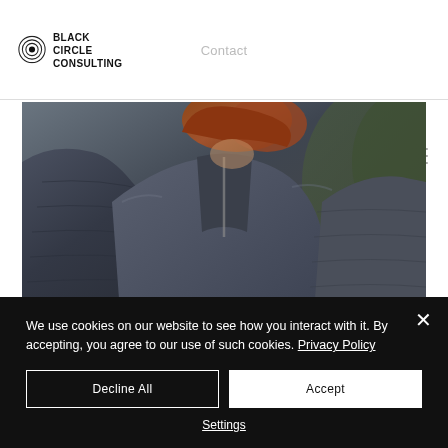[Figure (logo): Black Circle Consulting logo with concentric circle target icon and bold uppercase text]
Contact
[Figure (other): Hamburger menu icon (three horizontal lines)]
[Figure (photo): Close-up photo of a person wearing a dark puffer/puffy jacket with curly reddish hair, outdoor winter setting]
We use cookies on our website to see how you interact with it. By accepting, you agree to our use of such cookies. Privacy Policy
Decline All
Accept
Settings